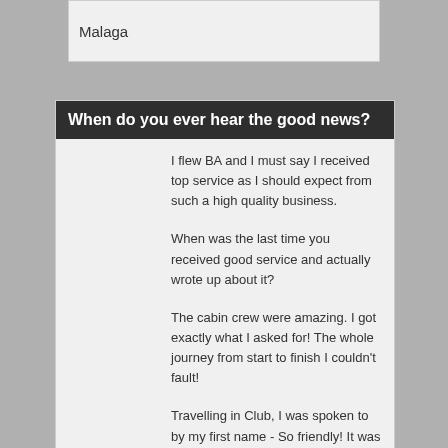Malaga
When do you ever hear the good news?
I flew BA and I must say I received top service as I should expect from such a high quality business.
When was the last time you received good service and actually wrote up about it?
The cabin crew were amazing. I got exactly what I asked for! The whole journey from start to finish I couldn't fault!
Travelling in Club, I was spoken to by my first name - So friendly! It was like they actually knew and cared for me!